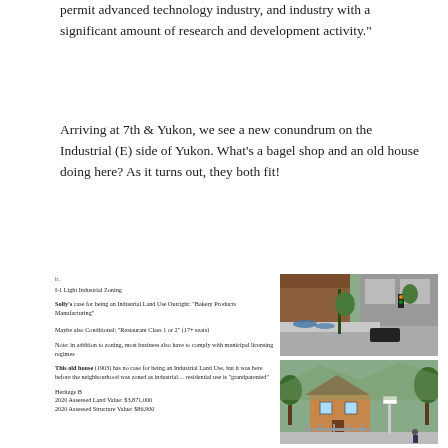permit advanced technology industry, and industry with a significant amount of research and development activity."
Arriving at 7th & Yukon, we see a new conundrum on the Industrial (E) side of Yukon. What's a bagel shop and an old house doing here? As it turns out, they both fit!
b.
I-1 Light Industrial Zoning

Solly's case for being an Industrial Land Use Outright: "Bakery Products Manufacturing"

Maybe also Conditional: "Restaurant Class 1 or 2" (17+ seats)

Note: in addition to zoning, most business also have to comply with municipal licensing regimes

This old house (1903) has no case for being an Industrial Land Use, but it was here before the neighbourhood was zoned as industrial… residential use is "grandparented"

Heritage B
2020 Assessed Land Value: $3,871,000
2020 Assessed Structure Value: $86,900
[Figure (photo): Street-level photo at 7th & Yukon showing Solly's Bagels (industrial-style brown building) with outdoor seating with blue umbrellas, a traffic light, trees, and a modern grey building in the background.]
[Figure (photo): Photo of an old Victorian-era house (1903) with a Heritage B designation, surrounded by trees, with a fence in the foreground and hills/mountains in the background.]